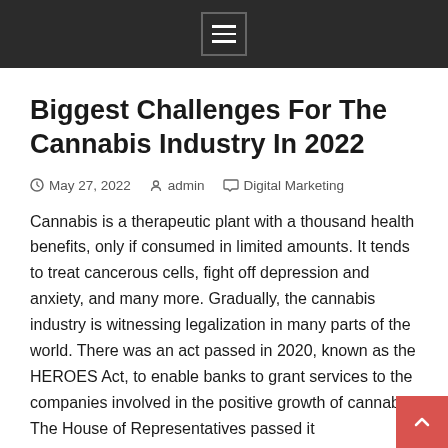[menu icon]
Biggest Challenges For The Cannabis Industry In 2022
May 27, 2022   admin   Digital Marketing
Cannabis is a therapeutic plant with a thousand health benefits, only if consumed in limited amounts. It tends to treat cancerous cells, fight off depression and anxiety, and many more. Gradually, the cannabis industry is witnessing legalization in many parts of the world. There was an act passed in 2020, known as the HEROES Act, to enable banks to grant services to the companies involved in the positive growth of cannabis. The House of Representatives passed it